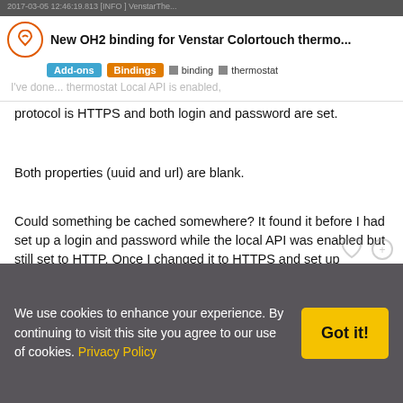New OH2 binding for Venstar Colortouch thermo...
I've done... thermostat Local API is enabled, protocol is HTTPS and both login and password are set.
Both properties (uuid and url) are blank.
Could something be cached somewhere? It found it before I had set up a login and password while the local API was enabled but still set to HTTP. Once I changed it to HTTPS and set up credentials it seems to hang. I do have mysql persistence running as well.
Thanks again for the help, I do appreciate it. Like my dad told me once, if I didn't have bad luck I wouldn't have any luck at all.
~Mark
We use cookies to enhance your experience. By continuing to visit this site you agree to our use of cookies. Privacy Policy